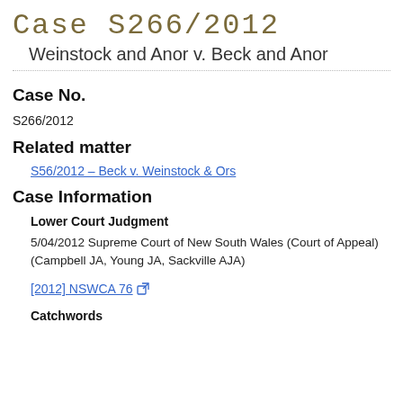Case S266/2012
Weinstock and Anor v. Beck and Anor
Case No.
S266/2012
Related matter
S56/2012 – Beck v. Weinstock & Ors
Case Information
Lower Court Judgment
5/04/2012 Supreme Court of New South Wales (Court of Appeal) (Campbell JA, Young JA, Sackville AJA)
[2012] NSWCA 76
Catchwords